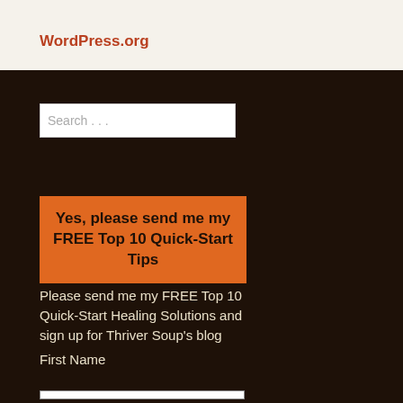WordPress.org
Search . . .
[Figure (other): Orange call-to-action button with text: Yes, please send me my FREE Top 10 Quick-Start Tips]
Please send me my FREE Top 10 Quick-Start Healing Solutions and sign up for Thriver Soup's blog
First Name